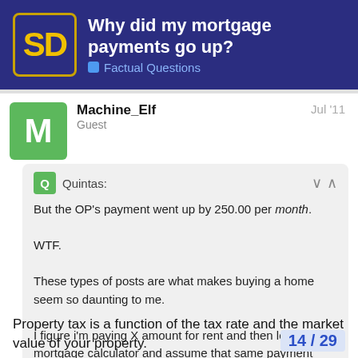Why did my mortgage payments go up? | Factual Questions
Machine_Elf
Guest
Jul '11
Quintas:
But the OP's payment went up by 250.00 per month.
WTF.
These types of posts are what makes buying a home seem so daunting to me.
I figure i'm paying X amount for rent and then look at a mortgage calculator and assume that same payment would get me X amount for a mortgage.
It can just 'go up'? Christ.
Property tax is a function of the tax rate and the market value of your property.
14 / 29